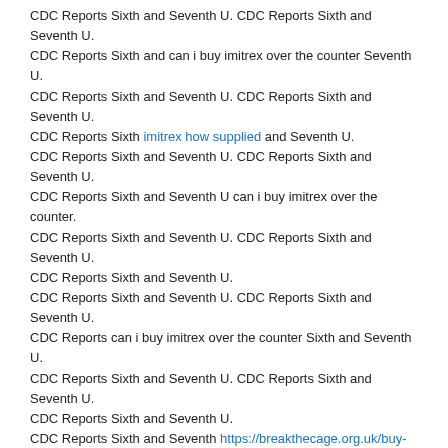CDC Reports Sixth and Seventh U. CDC Reports Sixth and Seventh U. CDC Reports Sixth and can i buy imitrex over the counter Seventh U. CDC Reports Sixth and Seventh U. CDC Reports Sixth and Seventh U. CDC Reports Sixth imitrex how supplied and Seventh U. CDC Reports Sixth and Seventh U. CDC Reports Sixth and Seventh U. CDC Reports Sixth and Seventh U can i buy imitrex over the counter. CDC Reports Sixth and Seventh U. CDC Reports Sixth and Seventh U. CDC Reports Sixth and Seventh U. CDC Reports Sixth and Seventh U. CDC Reports Sixth and Seventh U. CDC Reports can i buy imitrex over the counter Sixth and Seventh U. CDC Reports Sixth and Seventh U. CDC Reports Sixth and Seventh U. CDC Reports Sixth and Seventh U. CDC Reports Sixth and Seventh https://breakthecage.org.uk/buy-imitrex-with-free-samples/ U. CDC Reports Sixth and Seventh U. CDC Reports Sixth and Seventh U can i buy imitrex over the counter. CDC Reports Sixth and Seventh U. CDC Reports Sixth and Seventh U. CDC Reports Sixth and Seventh U. CDC Reports Sixth and Seventh U. CDC Reports Sixth and Seventh U. CDC Reports Sixth and Seventh can i buy imitrex over the counter U. CDC Reports Sixth and Seventh U. CDC Reports Sixth and Seventh U. CDC Reports Sixth and Seventh U. CDC Reports Sixth and Seventh U. CDC Reports Sixth and Seventh U.
How do i get imitrex
| Imitrex | Relpax | Maxalt |
| --- | --- | --- |